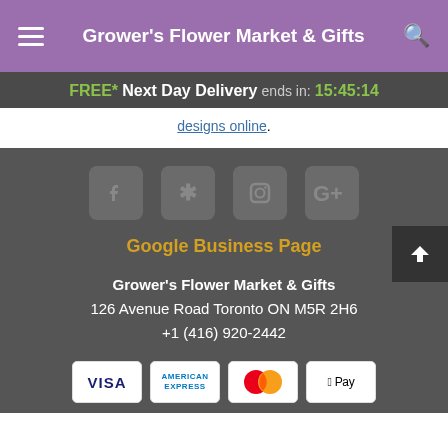Grower's Flower Market & Gifts
FREE* Next Day Delivery ends in: 15:45:14
designs online.
[Figure (other): Social media icons: Facebook, Yelp, Instagram, Google+]
Google Business Page
Grower's Flower Market & Gifts
126 Avenue Road Toronto ON M5R 2H6
+1 (416) 920-2442
[Figure (other): Payment method icons: VISA, American Express, Mastercard, Apple Pay]